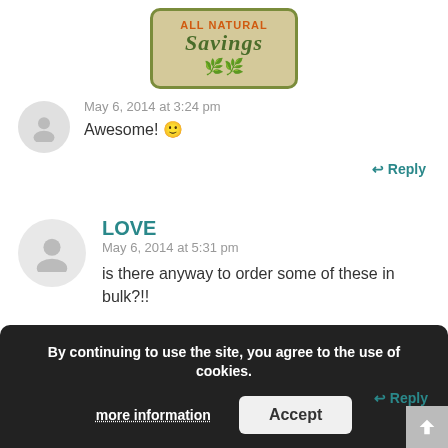[Figure (logo): All Natural Savings logo — green bordered box with tan background, orange text 'ALL NATURAL' and dark green italic 'Savings' with leaf icons]
May 6, 2014 at 3:24 pm
Awesome! 🙂
↩ Reply
LOVE
May 6, 2014 at 5:31 pm
is there anyway to order some of these in bulk?!!
↩ Reply
By continuing to use the site, you agree to the use of cookies.
more information
Accept